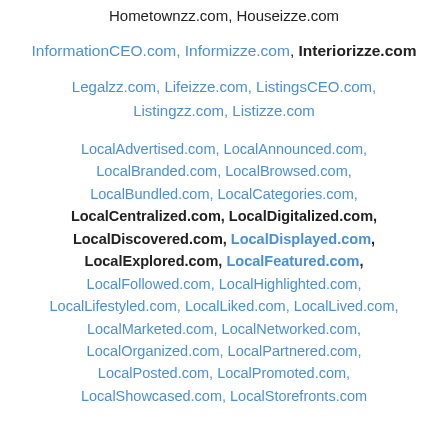Hometownzz.com, Houseizze.com
InformationCEO.com, Informizze.com, Interiorizze.com
Legalzz.com, Lifeizze.com, ListingsCEO.com, Listingzz.com, Listizze.com
LocalAdvertised.com, LocalAnnounced.com, LocalBranded.com, LocalBrowsed.com, LocalBundled.com, LocalCategories.com, LocalCentralized.com, LocalDigitalized.com, LocalDiscovered.com, LocalDisplayed.com, LocalExplored.com, LocalFeatured.com, LocalFollowed.com, LocalHighlighted.com, LocalLifestyled.com, LocalLiked.com, LocalLived.com, LocalMarketed.com, LocalNetworked.com, LocalOrganized.com, LocalPartnered.com, LocalPosted.com, LocalPromoted.com, LocalShowcased.com, LocalStorefronts.com